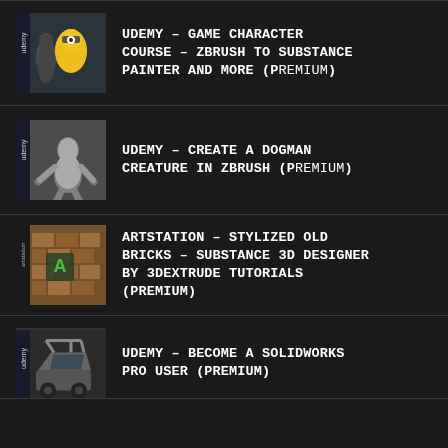UDEMY – GAME CHARACTER COURSE – ZBRUSH TO SUBSTANCE PAINTER AND MORE (Premium)
UDEMY – CREATE A DOGMAN CREATURE IN ZBRUSH (Premium)
ARTSTATION – STYLIZED OLD BRICKS – SUBSTANCE 3D DESIGNER BY 3DEXTRUDE TUTORIALS (premium)
UDEMY – BECOME A SOLIDWORKS PRO USER (premium)